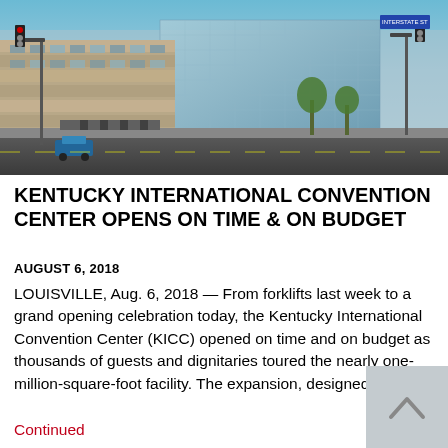[Figure (photo): Exterior photo of the Kentucky International Convention Center building — a modern glass and steel structure with street-level view, traffic lights, trees, and cyclists in the foreground.]
KENTUCKY INTERNATIONAL CONVENTION CENTER OPENS ON TIME & ON BUDGET
AUGUST 6, 2018
LOUISVILLE, Aug. 6, 2018 — From forklifts last week to a grand opening celebration today, the Kentucky International Convention Center (KICC) opened on time and on budget as thousands of guests and dignitaries toured the nearly one-million-square-foot facility. The expansion, designed by …
Continued